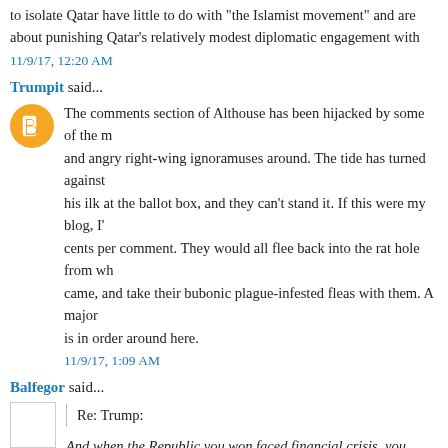to isolate Qatar have little to do with "the Islamist movement" and are about punishing Qatar's relatively modest diplomatic engagement with
11/9/17, 12:20 AM
Trumpit said...
The comments section of Althouse has been hijacked by some of the most and angry right-wing ignoramuses around. The tide has turned against his ilk at the ballot box, and they can't stand it. If this were my blog, I' cents per comment. They would all flee back into the rat hole from wh came, and take their bubonic plague-infested fleas with them. A major is in order around here.
11/9/17, 1:09 AM
Balfegor said...
Re: Trump:
And when the Republic you won faced financial crisis, you lined up by to give your most prized possessions -- your wedding rings, heirlooms